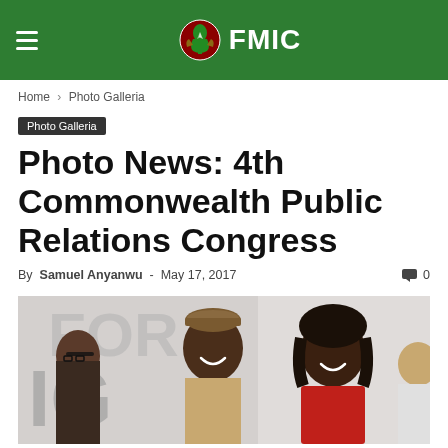FMIC
Home › Photo Galleria
Photo Galleria
Photo News: 4th Commonwealth Public Relations Congress
By Samuel Anyanwu - May 17, 2017   0
[Figure (photo): Group of people at the 4th Commonwealth Public Relations Congress; a man in a traditional Nigerian cap laughing, a woman in red jacket smiling, and another person on the left.]